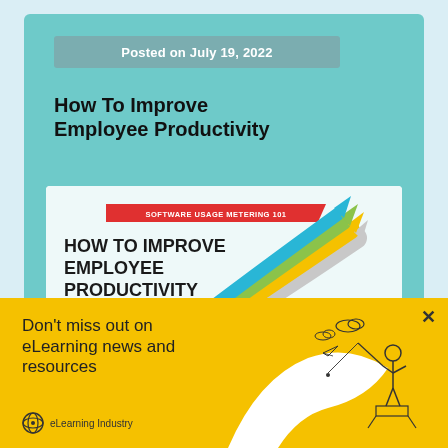Posted on July 19, 2022
How To Improve Employee Productivity
[Figure (infographic): Infographic titled 'SOFTWARE USAGE METERING 101 – HOW TO IMPROVE EMPLOYEE PRODUCTIVITY' with colorful upward arrows (blue, green, yellow, gray) and text: 'Here are some of the ways Open IT can be used to track software usage aiming to improve employee productivity.' Shows numbered steps including 'Track the number of software licenses that each employee is using.']
Don't miss out on eLearning news and resources
eLearning Industry